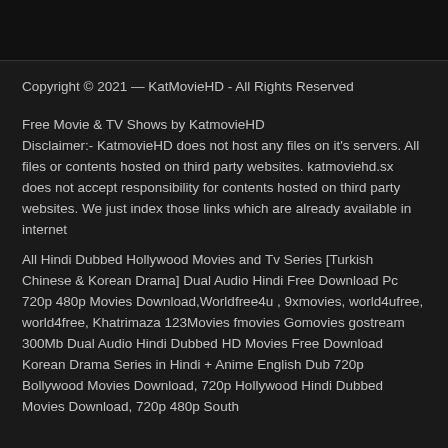Copyright © 2021 — KatMovieHD - All Rights Reserved
Free Movie & TV Shows by KatmovieHD
Disclaimer:- KatmovieHD does not host any files on it's servers. All files or contents hosted on third party websites. katmoviehd.sx does not accept responsibility for contents hosted on third party websites. We just index those links which are already available in internet
All Hindi Dubbed Hollywood Movies and Tv Series [Turkish Chinese & Korean Drama] Dual Audio Hindi Free Download Pc 720p 480p Movies Download,Worldfree4u , 9xmovies, world4ufree, world4free, Khatrimaza 123Movies fmovies Gomovies gostream 300Mb Dual Audio Hindi Dubbed HD Movies Free Download Korean Drama Series in Hindi + Anime English Dub 720p Bollywood Movies Download, 720p Hollywood Hindi Dubbed Movies Download, 720p 480p South